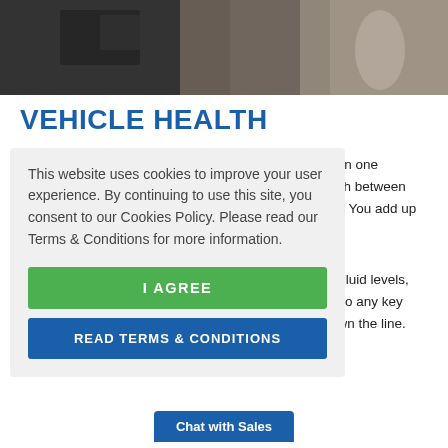[Figure (photo): Person in orange high-visibility vest writing on clipboard inside a vehicle, dashboard visible]
VEHICLE HEALTH
...n in one ...itch between ...n.  You add up
This website uses cookies to improve your user experience. By continuing to use this site, you consent to our Cookies Policy. Please read our Terms & Conditions for more information.
I AGREE
READ TERMS & CONDITIONS
; Fluid levels, ...d to any key ...own the line.
Chat with Sales
Let roadside assis... ...d help and share